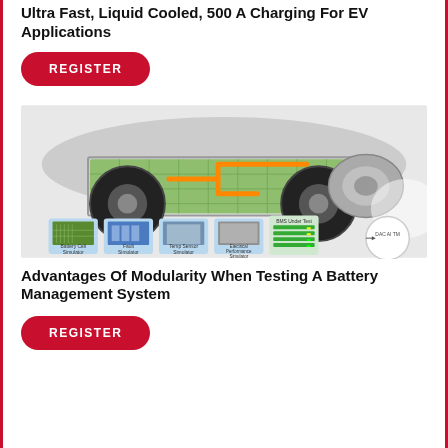Ultra Fast, Liquid Cooled, 500 A Charging For EV Applications
[Figure (other): Red rounded rectangle REGISTER button]
[Figure (illustration): EV battery platform cutaway view showing battery cells, wheels, motor, and orange high-voltage cables. Below the vehicle are four instrument/simulator modules labeled: Battery Cell Simulator, Fault Simulator, Temp Sensor Simulator, Electrical Performance Simulator, plus a BMS Under Test module and a DAC module on the right.]
Advantages Of Modularity When Testing A Battery Management System
[Figure (other): Red rounded rectangle REGISTER button]